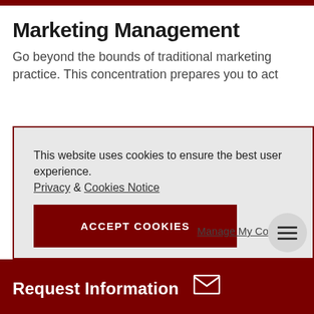Marketing Management
Go beyond the bounds of traditional marketing practice. This concentration prepares you to act
This website uses cookies to ensure the best user experience.
Privacy & Cookies Notice
ACCEPT COOKIES
Manage My Cookies
Request Information